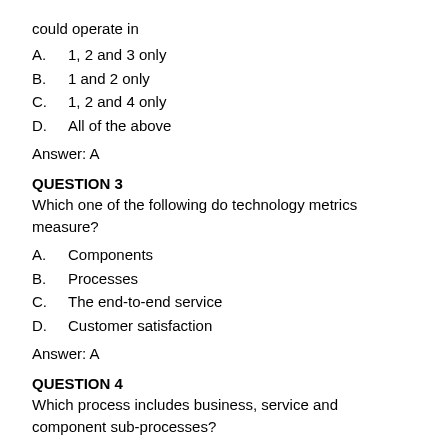could operate in
A.    1, 2 and 3 only
B.    1 and 2 only
C.    1, 2 and 4 only
D.    All of the above
Answer: A
QUESTION 3
Which one of the following do technology metrics measure?
A.    Components
B.    Processes
C.    The end-to-end service
D.    Customer satisfaction
Answer: A
QUESTION 4
Which process includes business, service and component sub-processes?
A.    Capacity management
B.    Incident management
C.    Service level management